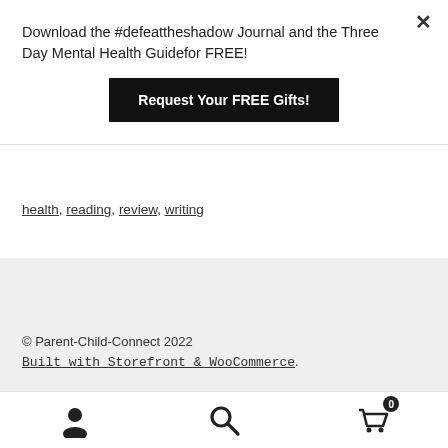Download the #defeattheshadow Journal and the Three Day Mental Health Guidefor FREE!
Request Your FREE Gifts!
health, reading, review, writing
© Parent-Child-Connect 2022
Built with Storefront & WooCommerce.